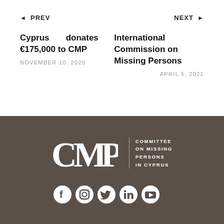◄ PREV
NEXT ►
Cyprus donates €175,000 to CMP
NOVEMBER 10, 2020
International Commission on Missing Persons
APRIL 5, 2021
[Figure (logo): CMP - Committee on Missing Persons in Cyprus logo in white on dark brown background, with social media icons below (Facebook, Instagram, Twitter, LinkedIn, YouTube)]